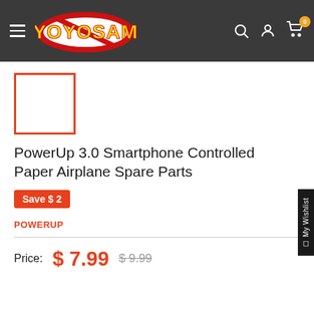YoyoSam - navigation header
[Figure (logo): YoyoSam logo with yellow text on red oval with white background, inside dark header bar]
[Figure (other): Small product thumbnail placeholder with orange/red border outline square]
PowerUp 3.0 Smartphone Controlled Paper Airplane Spare Parts
Save $ 2
POWERUP
Price: $ 7.99  $ 9.99